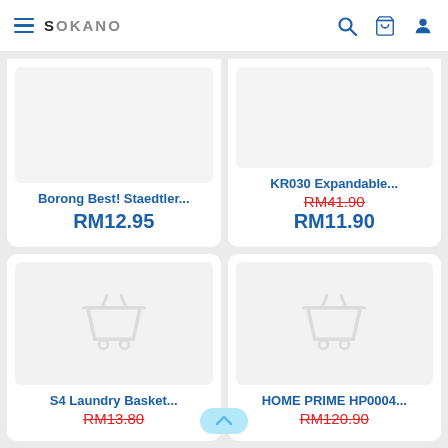SOKANO - Navigation header with hamburger menu, logo, search, cart, and user icons
Borong Best! Staedtler...
RM12.95
KR030 Expandable...
RM41.90 (strikethrough)
RM11.90
[Figure (illustration): Product placeholder: shopping cart icon on light grey background]
S4 Laundry Basket...
RM13.80 (strikethrough)
[Figure (illustration): Product placeholder: shopping cart icon on light grey background]
HOME PRIME HP0004...
RM120.90 (strikethrough)